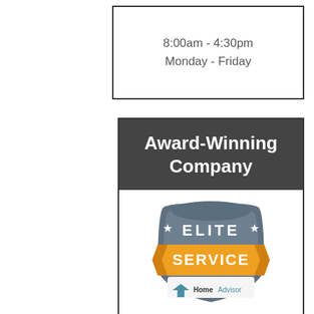8:00am - 4:30pm
Monday - Friday
Award-Winning Company
[Figure (logo): HomeAdvisor Elite Service badge with star symbols and orange SERVICE ribbon banner]
[Figure (logo): Pulse of the City 2015 award coin/medallion in gold and brown tones]